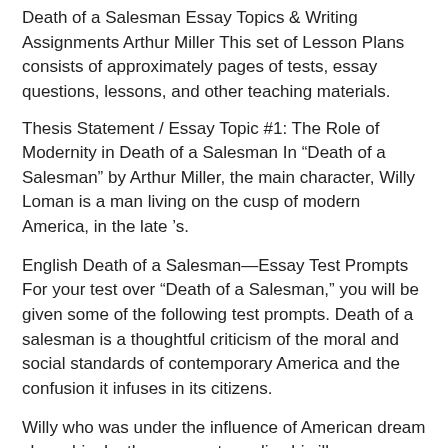Death of a Salesman Essay Topics & Writing Assignments Arthur Miller This set of Lesson Plans consists of approximately pages of tests, essay questions, lessons, and other teaching materials.
Thesis Statement / Essay Topic #1: The Role of Modernity in Death of a Salesman In “Death of a Salesman” by Arthur Miller, the main character, Willy Loman is a man living on the cusp of modern America, in the late ’s.
English Death of a Salesman—Essay Test Prompts For your test over “Death of a Salesman,” you will be given some of the following test prompts. Death of a salesman is a thoughtful criticism of the moral and social standards of contemporary America and the confusion it infuses in its citizens.
Willy who was under the influence of American dream chose his death as a way to realize his illusory success